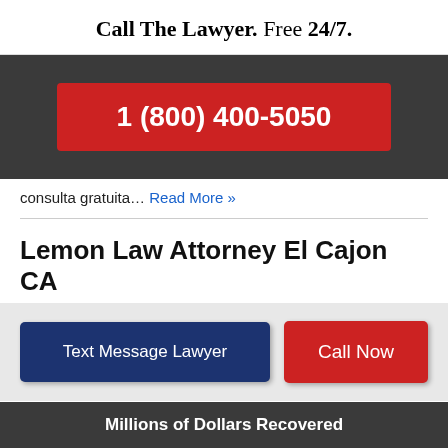Call The Lawyer. Free 24/7.
1 (800) 400-5050
consulta gratuita… Read More »
Lemon Law Attorney El Cajon CA
Text Message Lawyer | Call Now
Millions of Dollars Recovered